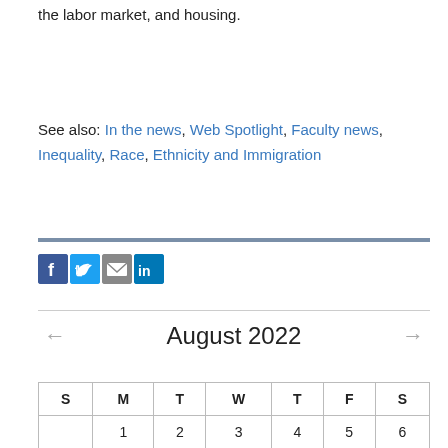the labor market, and housing.
See also: In the news, Web Spotlight, Faculty news, Inequality, Race, Ethnicity and Immigration
[Figure (infographic): Social sharing icons: Facebook, Twitter, Email, LinkedIn]
August 2022
| S | M | T | W | T | F | S |
| --- | --- | --- | --- | --- | --- | --- |
|  | 1 | 2 | 3 | 4 | 5 | 6 |